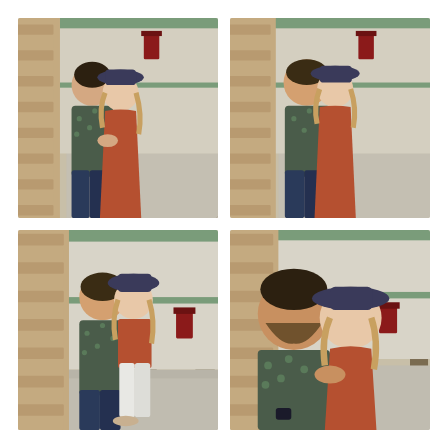[Figure (photo): A couple standing close together against a brick column on a city sidewalk. The man wears a patterned short-sleeve shirt and dark jeans; the woman wears a hat, rust/terracotta dress, and holds the man's hands. Trees visible in background. Both smiling at each other.]
[Figure (photo): Same couple in the same outdoor urban setting against the brick column. The man has his back more toward camera; the woman in rust dress and hat leans against the column. Similar framing to first photo.]
[Figure (photo): Same couple in a wider shot on the city sidewalk. The man in patterned shirt and dark jeans faces the woman who wears white jeans and a rust top with the hat. They are looking at each other romantically. More of the street and trees visible.]
[Figure (photo): Close-up of the couple from the side. The man's face is prominent in the foreground; the woman with the hat and rust dress leans against the brick column smiling at him. His hand rests on her waist.]